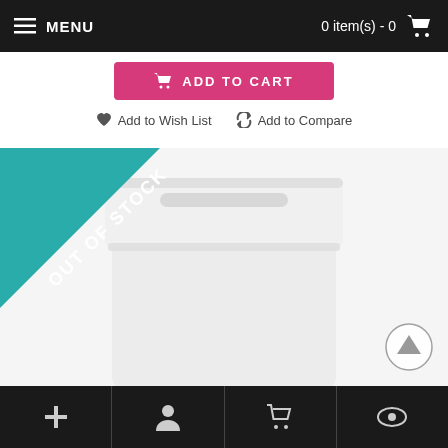MENU   0 item(s) - 0
[Figure (screenshot): Pink 'ADD TO CART' button]
Add to Wish List   Add to Compare
[Figure (photo): Product container with white lid, partially visible. 'OUT OF STOCK' teal ribbon on top-left corner.]
Bottom navigation bar with icons: plus, person, cart, eye